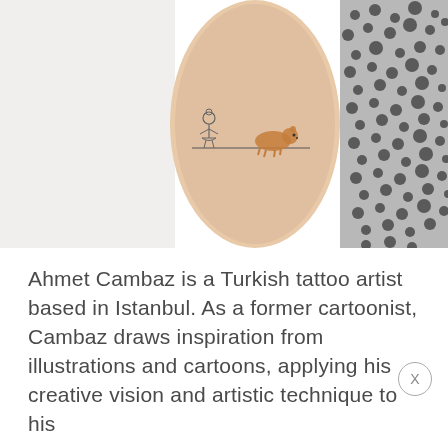[Figure (photo): A close-up photo of a person's wrist showing a small delicate tattoo featuring a ballerina figure and a small brown bear/animal connected by a thin horizontal line. The background shows a snakeskin-patterned fabric on the right side and a white surface on the left.]
Ahmet Cambaz is a Turkish tattoo artist based in Istanbul. As a former cartoonist, Cambaz draws inspiration from illustrations and cartoons, applying his creative vision and artistic technique to his